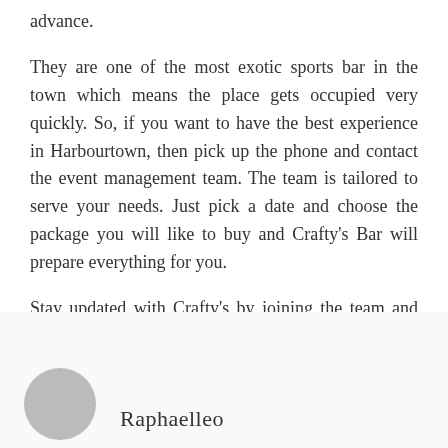advance.
They are one of the most exotic sports bar in the town which means the place gets occupied very quickly. So, if you want to have the best experience in Harbourtown, then pick up the phone and contact the event management team. The team is tailored to serve your needs. Just pick a date and choose the package you will like to buy and Crafty's Bar will prepare everything for you.
Stay updated with Crafty's by joining the team and get new promotions and offers for your weekend plans!!
Raphaelleo